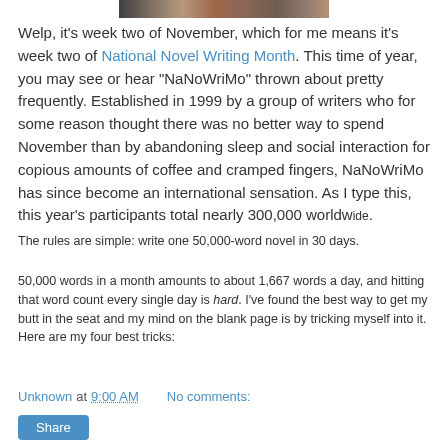[Figure (photo): Cropped image strip at top of page showing a partial image with a dark background and some colorful content]
Welp, it’s week two of November, which for me means it’s week two of National Novel Writing Month. This time of year, you may see or hear “NaNoWriMo” thrown about pretty frequently. Established in 1999 by a group of writers who for some reason thought there was no better way to spend November than by abandoning sleep and social interaction for copious amounts of coffee and cramped fingers, NaNoWriMo has since become an international sensation. As I type this, this year’s participants total nearly 300,000 worldwide.
The rules are simple: write one 50,000-word novel in 30 days.
50,000 words in a month amounts to about 1,667 words a day, and hitting that word count every single day is hard. I’ve found the best way to get my butt in the seat and my mind on the blank page is by tricking myself into it. Here are my four best tricks:
Unknown at 9:00 AM    No comments:
Share